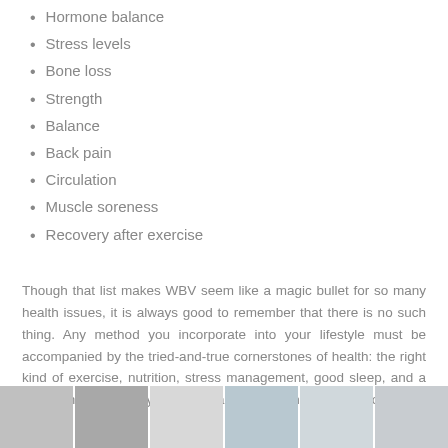Hormone balance
Stress levels
Bone loss
Strength
Balance
Back pain
Circulation
Muscle soreness
Recovery after exercise
Though that list makes WBV seem like a magic bullet for so many health issues, it is always good to remember that there is no such thing. Any method you incorporate into your lifestyle must be accompanied by the tried-and-true cornerstones of health: the right kind of exercise, nutrition, stress management, good sleep, and a well-planned recovery plan from any existing health conditions.
[Figure (photo): Strip of photos at bottom of page showing people exercising and wellness-related imagery]